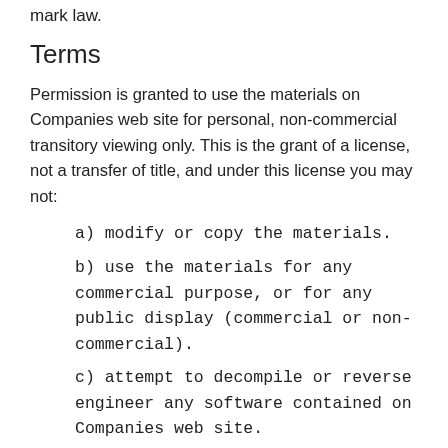mark law.
Terms
Permission is granted to use the materials on Companies web site for personal, non-commercial transitory viewing only. This is the grant of a license, not a transfer of title, and under this license you may not:
a) modify or copy the materials.
b) use the materials for any commercial purpose, or for any public display (commercial or non-commercial).
c) attempt to decompile or reverse engineer any software contained on Companies web site.
d) remove any copyright or other proprietary notations from the materials.